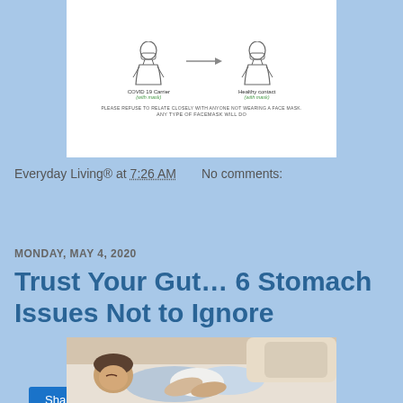[Figure (infographic): COVID-19 mask infographic showing a COVID-19 Carrier (with mask) and a Healthy contact (with mask) with an arrow between them. Text reads: PLEASE REFUSE TO RELATE CLOSELY WITH ANYONE NOT WEARING A FACE MASK. ANY TYPE OF FACEMASK WILL DO.]
Everyday Living® at 7:26 AM   No comments:
Share
MONDAY, MAY 4, 2020
Trust Your Gut… 6 Stomach Issues Not to Ignore
[Figure (photo): Photo of a child lying on their side holding their stomach, appearing to be in pain or discomfort.]